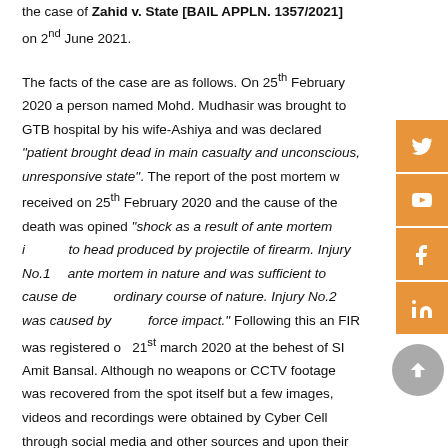the case of Zahid v. State [BAIL APPLN. 1357/2021] on 2nd June 2021. The facts of the case are as follows. On 25th February 2020 a person named Mohd. Mudhasir was brought to GTB hospital by his wife-Ashiya and was declared "patient brought dead in main casualty and unconscious, unresponsive state". The report of the post mortem was received on 25th February 2020 and the cause of the death was opined "shock as a result of ante mortem injuries to head produced by projectile of firearm. Injury No.1 is ante mortem in nature and was sufficient to cause death in ordinary course of nature. Injury No.2 was caused by blunt force impact." Following this an FIR was registered on 21st march 2020 at the behest of SI Amit Bansal. Although no weapons or CCTV footage was recovered from the spot itself but a few images, videos and recordings were obtained by Cyber Cell through social media and other sources and upon their scrutiny one